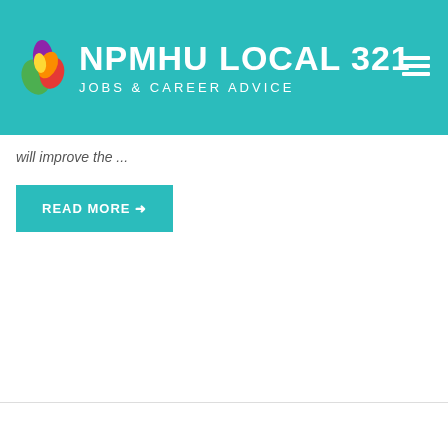NPMHU LOCAL 321 JOBS & CAREER ADVICE
will improve the ...
READ MORE →
01  02  Last